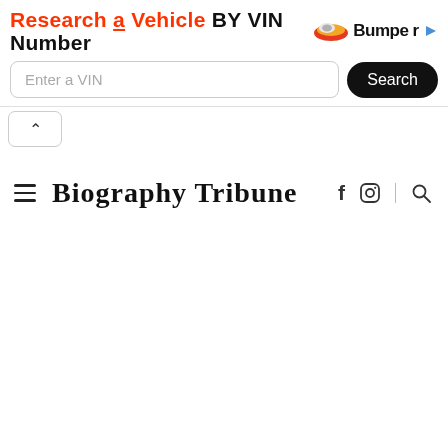[Figure (infographic): Advertisement banner for Bumper VIN lookup service. Red bold headline 'Research a Vehicle BY VIN Number' with Bumper logo. Below: text input 'Enter a VIN' and black 'Search' button.]
[Figure (infographic): Collapse/minimize button with upward chevron arrow inside a rounded rectangle border.]
Biography Tribune
[Figure (infographic): Navigation bar with hamburger menu icon on left, site title 'Biography Tribune' in blackletter font, and social icons (Facebook f, Instagram circle), divider, and search magnifier icon on right.]